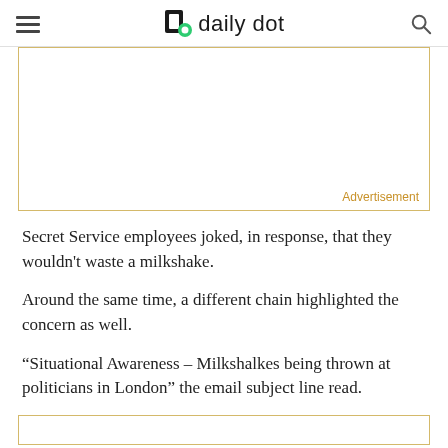daily dot
[Figure (other): Advertisement placeholder box with gold/yellow border and 'Advertisement' label in bottom right corner]
Secret Service employees joked, in response, that they wouldn't waste a milkshake.
Around the same time, a different chain highlighted the concern as well.
“Situational Awareness – Milkshalkes being thrown at politicians in London” the email subject line read.
[Figure (other): Bottom advertisement placeholder box with gold/yellow border, partially visible]